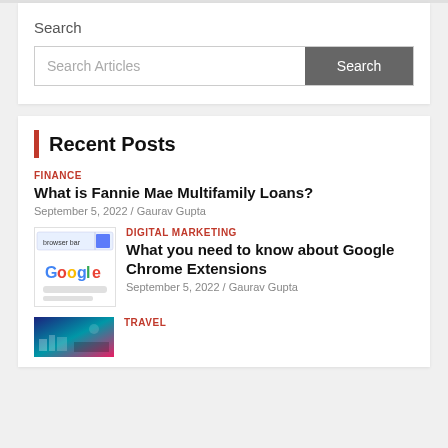Search
Search Articles
Recent Posts
FINANCE
What is Fannie Mae Multifamily Loans?
September 5, 2022 / Gaurav Gupta
[Figure (screenshot): Screenshot of Google Chrome browser interface]
DIGITAL MARKETING
What you need to know about Google Chrome Extensions
September 5, 2022 / Gaurav Gupta
[Figure (photo): Travel-related night city image]
TRAVEL